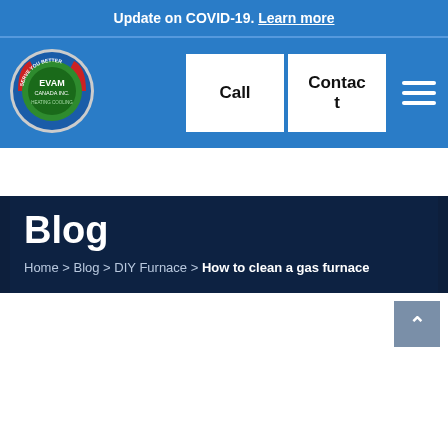Update on COVID-19. Learn more
[Figure (logo): Evam Canada Inc. Heating & Cooling circular logo in green and blue]
Call
Contact
Blog
Home > Blog > DIY Furnace > How to clean a gas furnace